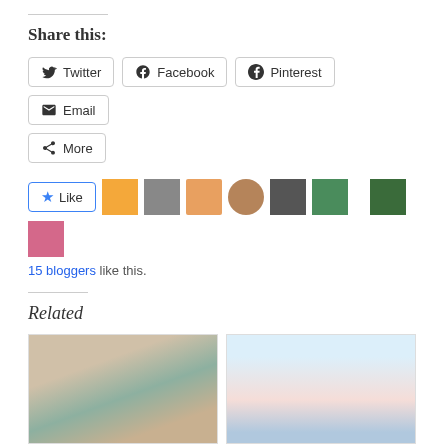Share this:
Twitter  Facebook  Pinterest  Email  More
[Figure (other): Like button and 15 blogger avatar thumbnails]
15 bloggers like this.
Related
[Figure (photo): Two American Girl dolls in floral dresses]
400 FOLLOWERS GIVEAWAY!!!
[Figure (photo): Doll in striped dress with book]
GIVEAWAY WINNER!
February 20, 2017